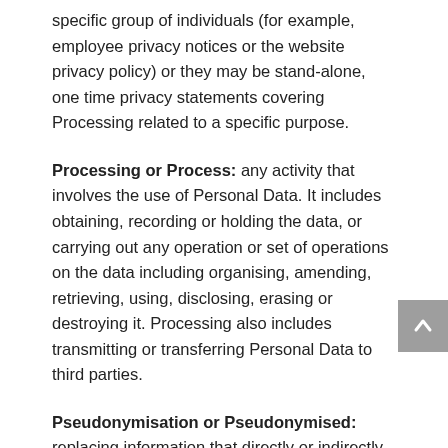specific group of individuals (for example, employee privacy notices or the website privacy policy) or they may be stand-alone, one time privacy statements covering Processing related to a specific purpose.
Processing or Process:  any activity that involves the use of Personal Data. It includes obtaining, recording or holding the data, or carrying out any operation or set of operations on the data including organising, amending, retrieving, using, disclosing, erasing or destroying it. Processing also includes transmitting or transferring Personal Data to third parties.
Pseudonymisation or Pseudonymised:  replacing information that directly or indirectly identifies an individual with one or more artificial identifiers or pseudonyms so that the person to whom the data